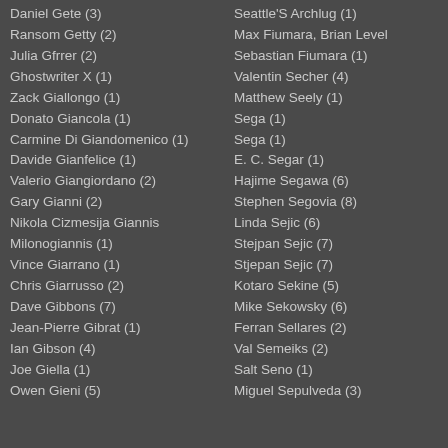Daniel Gete (3)
Ransom Getty (2)
Julia Gfrrer (2)
Ghostwriter X (1)
Zack Giallongo (1)
Donato Giancola (1)
Carmine Di Giandomenico (1)
Davide Gianfelice (1)
Valerio Giangiordano (2)
Gary Gianni (2)
Nikola Cizmesija Giannis Milonogiannis (1)
Vince Giarrano (1)
Chris Giarrusso (2)
Dave Gibbons (7)
Jean-Pierre Gibrat (1)
Ian Gibson (4)
Joe Giella (1)
Owen Gieni (5)
Seattle'S Archlug (1)
Max Fiumara, Brian Level Sebastian Fiumara (1)
Valentin Secher (4)
Matthew Seely (1)
Sega (1)
Sega (1)
E. C. Segar (1)
Hajime Segawa (6)
Stephen Segovia (8)
Linda Sejic (6)
Stejpan Sejic (7)
Stjepan Sejic (7)
Kotaro Sekine (5)
Mike Sekowsky (6)
Ferran Sellares (2)
Val Semeiks (2)
Salt Seno (1)
Miguel Sepulveda (3)